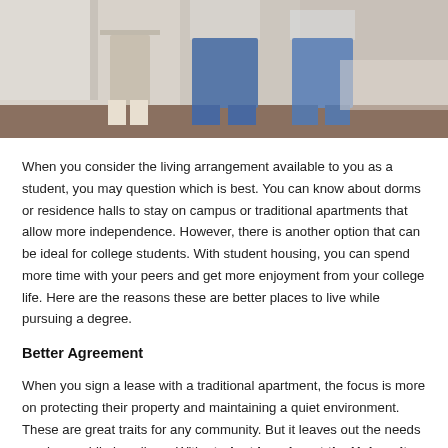[Figure (photo): Photo showing people (students/family) standing in what appears to be a home or apartment interior, cropped at waist level showing clothing and a kitchen background.]
When you consider the living arrangement available to you as a student, you may question which is best. You can know about dorms or residence halls to stay on campus or traditional apartments that allow more independence. However, there is another option that can be ideal for college students. With student housing, you can spend more time with your peers and get more enjoyment from your college life. Here are the reasons these are better places to live while pursuing a degree.
Better Agreement
When you sign a lease with a traditional apartment, the focus is more on protecting their property and maintaining a quiet environment. These are great traits for any community. But it leaves out the needs you have while in college. With student housing at the University of Central Florida, you can choose what floor plan works best for you. You will have your own bedroom and bathroom that locks. You also get a large living room area